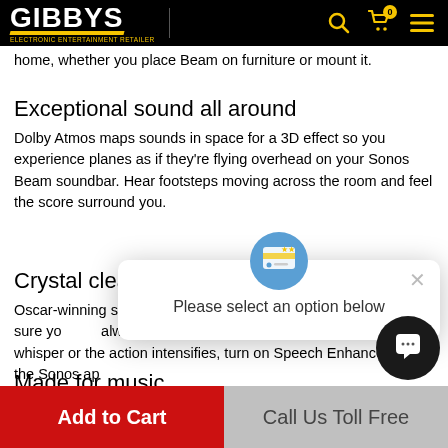GIBBYS — Electronic Entertainment Retailer
home, whether you place Beam on furniture or mount it.
Exceptional sound all around
Dolby Atmos maps sounds in space for a 3D effect so you experience planes as if they're flying overhead on your Sonos Beam soundbar. Hear footsteps moving across the room and feel the score surround you.
Crystal clear dialogue
Oscar-winning sound engineers work with Sonos Beam to make sure you can always follow the story. And when characters whisper or the action intensifies, turn on Speech Enhancement in the Sonos app.
Made for music
Stream music, radio, audiobooks and podcasts from
[Figure (screenshot): Popup dialog with icon at top center, close X button top right, and text 'Please select an option below']
[Figure (other): Circular dark chat button with speech bubble icon, bottom right corner]